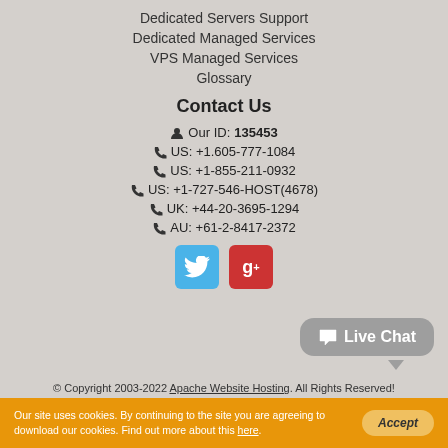Dedicated Servers Support
Dedicated Managed Services
VPS Managed Services
Glossary
Contact Us
Our ID: 135453
US: +1.605-777-1084
US: +1-855-211-0932
US: +1-727-546-HOST(4678)
UK: +44-20-3695-1294
AU: +61-2-8417-2372
[Figure (logo): Twitter and Google Plus social media icon buttons]
[Figure (illustration): Live Chat speech bubble button]
© Copyright 2003-2022 Apache Website Hosting. All Rights Reserved!
Our site uses cookies. By continuing to the site you are agreeing to download our cookies. Find out more about this here.